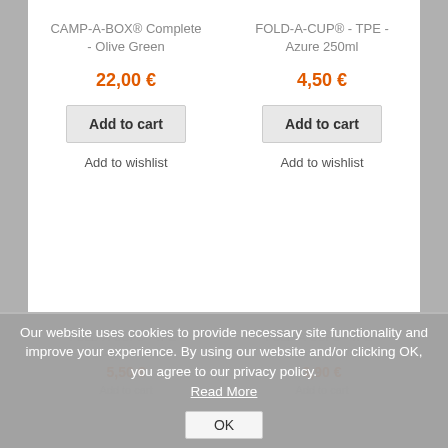CAMP-A-BOX® Complete - Olive Green
22,00 €
Add to cart
Add to wishlist
FOLD-A-CUP® - TPE - Azure 250ml
4,50 €
Add to cart
Add to wishlist
FOLD-A-CUP® - TPE - Desert 600ml
5,50 €
Add to cart
FOLD-A-CUP® - TPE - Black 250ml
3,90 €
Add to cart
Our website uses cookies to provide necessary site functionality and improve your experience. By using our website and/or clicking OK, you agree to our privacy policy. Read More
OK